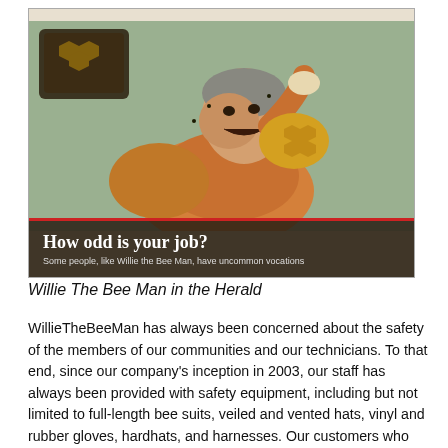[Figure (photo): Newspaper clipping showing a man eating honeycomb with headline 'How odd is your job?' and subheadline 'Some people, like Willie the Bee Man, have uncommon vocations']
Willie The Bee Man in the Herald
WillieTheBeeMan has always been concerned about the safety of the members of our communities and our technicians. To that end, since our company's inception in 2003, our staff has always been provided with safety equipment, including but not limited to full-length bee suits, veiled and vented hats, vinyl and rubber gloves, hardhats, and harnesses. Our customers who wish to observe bee hive removal procedures may opt to wear bee suits and screened hats which we carry daily. With the COVID-19 (Coronavirus) pandemic, WillieTheBeeMan continues its concern for our